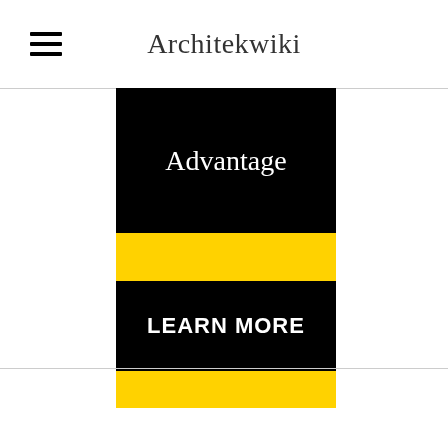Architekwiki
[Figure (infographic): Advertisement banner with yellow background (#FFD200). Top section: black rectangle with white serif text 'Advantage' (partially cut off at top). Middle: yellow gap. Bottom section: black rectangle with white bold sans-serif text 'LEARN MORE'. Yellow strip at bottom.]